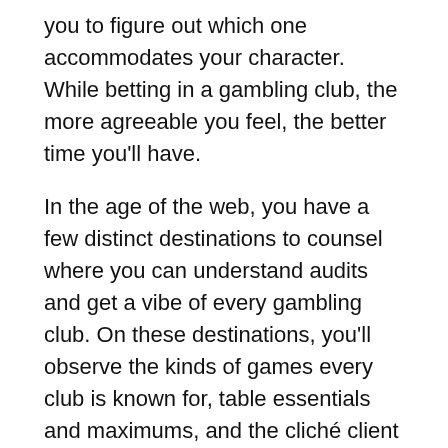you to figure out which one accommodates your character. While betting in a gambling club, the more agreeable you feel, the better time you'll have.
In the age of the web, you have a few distinct destinations to counsel where you can understand audits and get a vibe of every gambling club. On these destinations, you'll observe the kinds of games every club is known for, table essentials and maximums, and the cliché client each serves.
It's really smart to have a few gambling clubs chose upon appearance since it will make it more straightforward to observe where you can get into the zone and possibly win some cash.